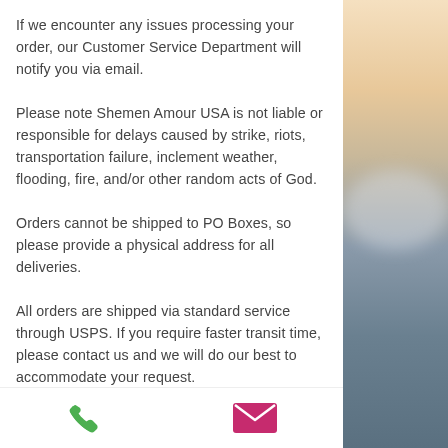If we encounter any issues processing your order, our Customer Service Department will notify you via email.
Please note Shemen Amour USA is not liable or responsible for delays caused by strike, riots, transportation failure, inclement weather, flooding, fire, and/or other random acts of God.
Orders cannot be shipped to PO Boxes, so please provide a physical address for all deliveries.
All orders are shipped via standard service through USPS. If you require faster transit time, please contact us and we will do our best to accommodate your request.
Deliveries to Alaska, Hawaii, and Puerto Rico do not qualify for shipping promotions.  Delivery